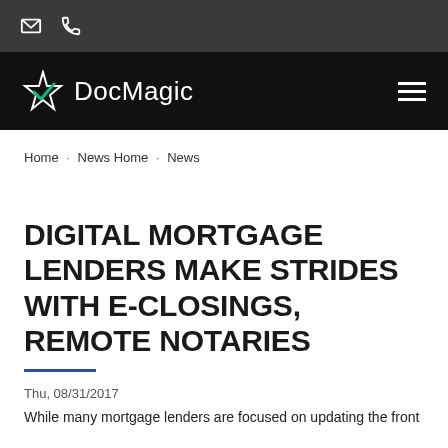DocMagic – Email and Phone icons top bar
[Figure (logo): DocMagic logo with star/checkmark icon and text 'DocMagic' in white on black navigation bar]
Home · News Home · News
DIGITAL MORTGAGE LENDERS MAKE STRIDES WITH E-CLOSINGS, REMOTE NOTARIES
Thu, 08/31/2017
While many mortgage lenders are focused on updating the front